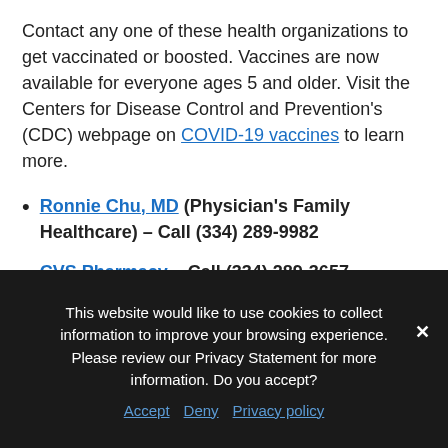Contact any one of these health organizations to get vaccinated or boosted. Vaccines are now available for everyone ages 5 and older. Visit the Centers for Disease Control and Prevention's (CDC) webpage on COVID-19 vaccines to learn more.
Ronnie Chu, MD (Physician's Family Healthcare) – Call (334) 289-9982
CVS Pharmacy – Call (334) 289-3657
This website would like to use cookies to collect information to improve your browsing experience. Please review our Privacy Statement for more information. Do you accept?
Accept   Deny   Privacy policy